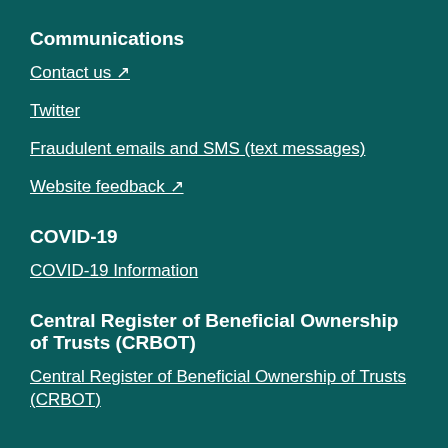Communications
Contact us ↗
Twitter
Fraudulent emails and SMS (text messages)
Website feedback ↗
COVID-19
COVID-19 Information
Central Register of Beneficial Ownership of Trusts (CRBOT)
Central Register of Beneficial Ownership of Trusts (CRBOT)